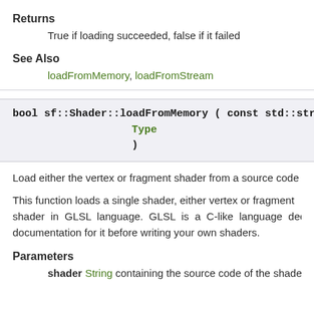Returns
True if loading succeeded, false if it failed
See Also
loadFromMemory, loadFromStream
bool sf::Shader::loadFromMemory ( const std::string & sh
                                Type                          ty
                              )
Load either the vertex or fragment shader from a source code
This function loads a single shader, either vertex or fragment shader in GLSL language. GLSL is a C-like language dedi documentation for it before writing your own shaders.
Parameters
shader String containing the source code of the shader